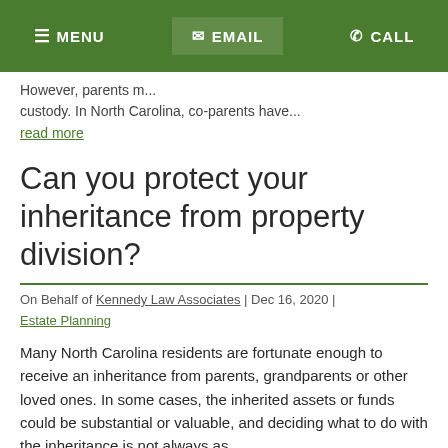MENU | EMAIL | CALL
However, parents m... custody. In North Carolina, co-parents have...
read more
Can you protect your inheritance from property division?
On Behalf of Kennedy Law Associates | Dec 16, 2020 | Estate Planning
Many North Carolina residents are fortunate enough to receive an inheritance from parents, grandparents or other loved ones. In some cases, the inherited assets or funds could be substantial or valuable, and deciding what to do with the inheritance is not always as...
read more